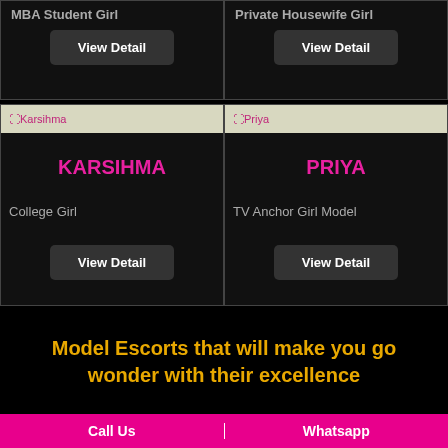MBA Student Girl
View Detail
Private Housewife Girl
View Detail
[Figure (other): Karsihma image placeholder with alt text]
KARSIHMA
College Girl
View Detail
[Figure (other): Priya image placeholder with alt text]
PRIYA
TV Anchor Girl Model
View Detail
Model Escorts that will make you go wonder with their excellence
Call Us | Whatsapp